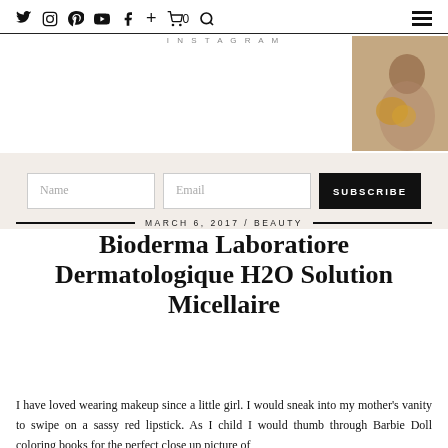Twitter Instagram Pinterest YouTube Facebook + Cart 0 Search [hamburger menu] INSTAGRAM
[Figure (photo): Woman holding a fluffy dog, head and shoulders photo]
Name  Email  SUBSCRIBE
MARCH 6, 2017 / BEAUTY
Bioderma Laboratiore Dermatologique H2O Solution Micellaire
I have loved wearing makeup since a little girl. I would sneak into my mother's vanity to swipe on a sassy red lipstick. As I child I would thumb through Barbie Doll coloring books for the perfect close up picture of